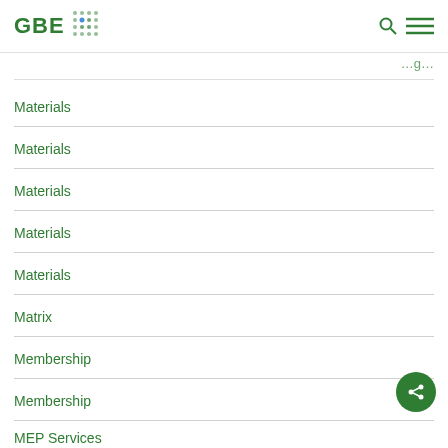GBE [logo with dots] [search icon] [menu icon]
Materials
Materials
Materials
Materials
Materials
Matrix
Membership
Membership
MEP Services